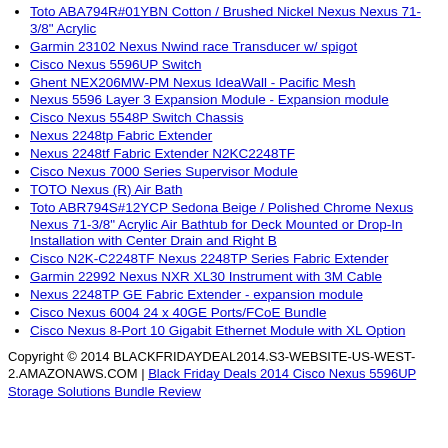Toto ABA794R#01YBN Cotton / Brushed Nickel Nexus Nexus 71-3/8" Acrylic
Garmin 23102 Nexus Nwind race Transducer w/ spigot
Cisco Nexus 5596UP Switch
Ghent NEX206MW-PM Nexus IdeaWall - Pacific Mesh
Nexus 5596 Layer 3 Expansion Module - Expansion module
Cisco Nexus 5548P Switch Chassis
Nexus 2248tp Fabric Extender
Nexus 2248tf Fabric Extender N2KC2248TF
Cisco Nexus 7000 Series Supervisor Module
TOTO Nexus (R) Air Bath
Toto ABR794S#12YCP Sedona Beige / Polished Chrome Nexus Nexus 71-3/8" Acrylic Air Bathtub for Deck Mounted or Drop-In Installation with Center Drain and Right B
Cisco N2K-C2248TF Nexus 2248TP Series Fabric Extender
Garmin 22992 Nexus NXR XL30 Instrument with 3M Cable
Nexus 2248TP GE Fabric Extender - expansion module
Cisco Nexus 6004 24 x 40GE Ports/FCoE Bundle
Cisco Nexus 8-Port 10 Gigabit Ethernet Module with XL Option
Copyright © 2014 BLACKFRIDAYDEAL2014.S3-WEBSITE-US-WEST-2.AMAZONAWS.COM | Black Friday Deals 2014 Cisco Nexus 5596UP Storage Solutions Bundle Review